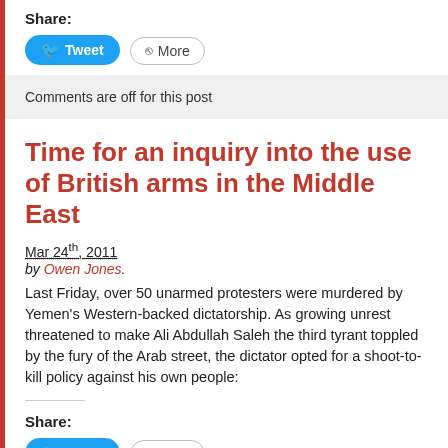Share:
Tweet | More
Comments are off for this post
Time for an inquiry into the use of British arms in the Middle East
Mar 24th, 2011
by Owen Jones.
Last Friday, over 50 unarmed protesters were murdered by Yemen's Western-backed dictatorship. As growing unrest threatened to make Ali Abdullah Saleh the third tyrant toppled by the fury of the Arab street, the dictator opted for a shoot-to-kill policy against his own people:
Share:
Tweet | More
2 comments